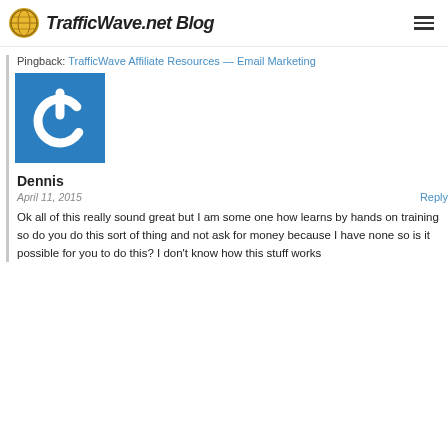TrafficWave.net Blog
Pingback: TrafficWave Affiliate Resources — Email Marketing
[Figure (logo): Blue square avatar with white power button icon]
Dennis
April 11, 2015
Reply
Ok all of this really sound great but I am some one how learns by hands on training so do you do this sort of thing and not ask for money because I have none so is it possible for you to do this? I don't know how this stuff works